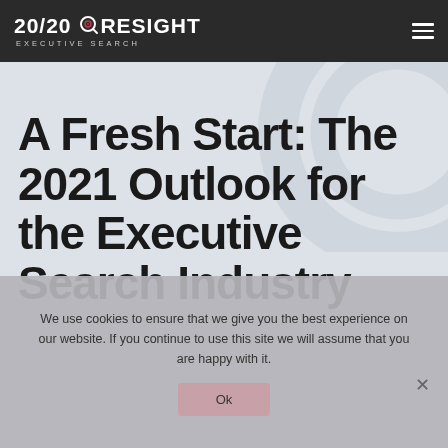20/20 FORESIGHT EXECUTIVE SEARCH
A Fresh Start: The 2021 Outlook for the Executive Search Industry
We use cookies to ensure that we give you the best experience on our website. If you continue to use this site we will assume that you are happy with it.
Ok